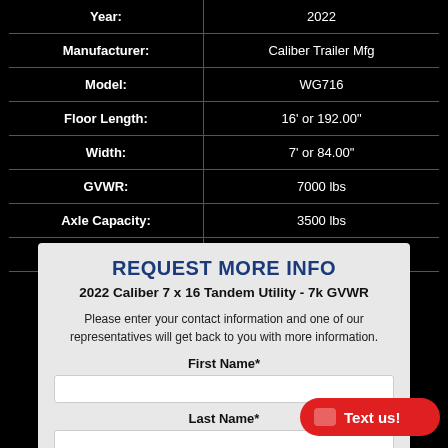| Field | Value |
| --- | --- |
| Year: | 2022 |
| Manufacturer: | Caliber Trailer Mfg |
| Model: | WG716 |
| Floor Length: | 16' or 192.00" |
| Width: | 7' or 84.00" |
| GVWR: | 7000 lbs |
| Axle Capacity: | 3500 lbs |
| Color: | Black |
REQUEST MORE INFO
2022 Caliber 7 x 16 Tandem Utility - 7k GVWR
Please enter your contact information and one of our representatives will get back to you with more information.
First Name*
Last Name*
Text us!